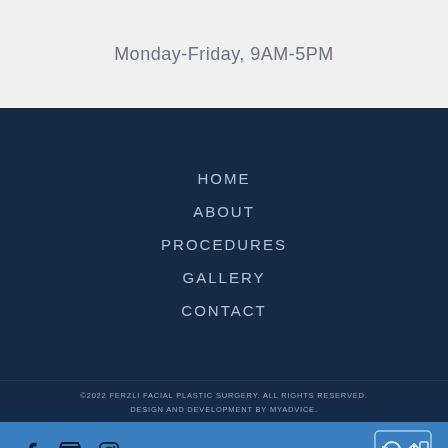Monday-Friday, 9AM-5PM
HOME
ABOUT
PROCEDURES
GALLERY
CONTACT
©2022 FERZLI FACIAL PLASTIC SURGERY. ALL RIGHTS RESERVED. DESIGN AND DEVELOPMENT BY MYADVICE.
[Figure (other): Social media icons: Facebook, Google My Business store, Instagram on blue bar; back-to-top arrow button at right]